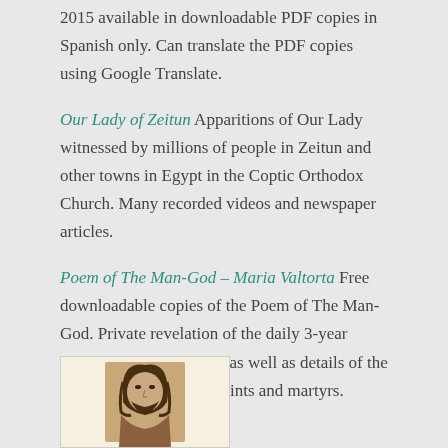2015 available in downloadable PDF copies in Spanish only. Can translate the PDF copies using Google Translate.
Our Lady of Zeitun Apparitions of Our Lady witnessed by millions of people in Zeitun and other towns in Egypt in the Coptic Orthodox Church. Many recorded videos and newspaper articles.
Poem of The Man-God – Maria Valtorta Free downloadable copies of the Poem of The Man-God. Private revelation of the daily 3-year ministry of Jesus Christ, as well as details of the early Church and first Saints and martyrs.
[Figure (photo): Small framed image of Jesus Christ portrait]